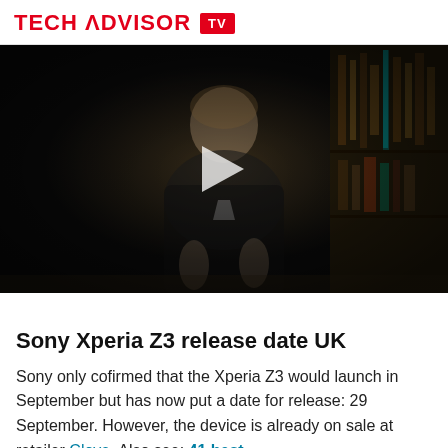TECH ADVISOR TV
[Figure (screenshot): Video thumbnail showing a person sitting in a dimly lit room with bookshelves, with a play button overlay. Tech Advisor TV video player.]
Sony Xperia Z3 release date UK
Sony only cofirmed that the Xperia Z3 would launch in September but has now put a date for release: 29 September. However, the device is already on sale at retailer Clove. Also see: 41 best